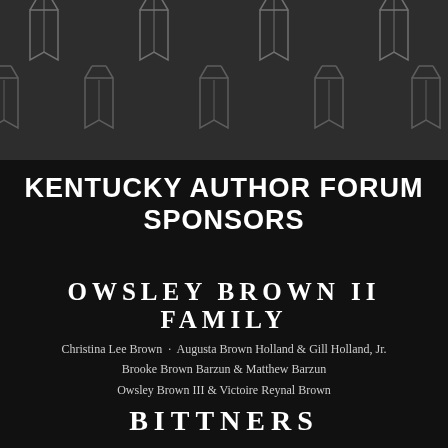[Figure (illustration): Dark gray background with repeated open book icons arranged in a grid pattern, forming a decorative header band.]
KENTUCKY AUTHOR FORUM SPONSORS
OWSLEY BROWN II FAMILY
Christina Lee Brown · Augusta Brown Holland & Gill Holland, Jr.
Brooke Brown Barzun & Matthew Barzun
Owsley Brown III & Victoire Reynal Brown
BITTNERS